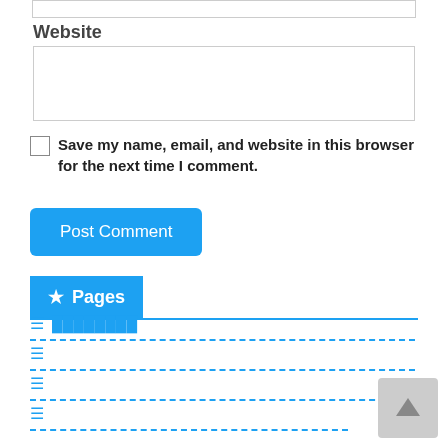Website
Save my name, email, and website in this browser for the next time I comment.
Post Comment
★ Pages
≡ ▓▓▓▓▓▓▓▓
≡
≡
≡